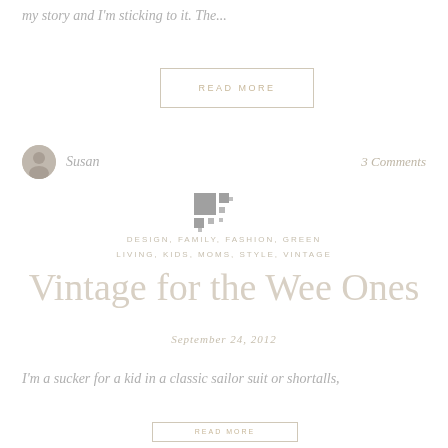my story and I'm sticking to it. The...
READ MORE
Susan   3 Comments
[Figure (logo): Grid logo made of squares in varying sizes and shades of gray]
DESIGN, FAMILY, FASHION, GREEN LIVING, KIDS, MOMS, STYLE, VINTAGE
Vintage for the Wee Ones
September 24, 2012
I'm a sucker for a kid in a classic sailor suit or shortalls,
READ MORE